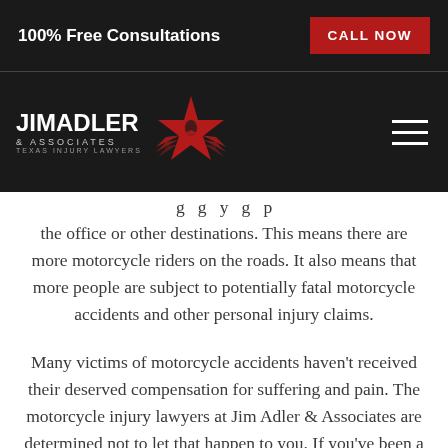100% Free Consultations   CALL NOW
[Figure (logo): Jim Adler & Associates Texas Injury Lawyers logo with red star/wing graphic and hamburger menu icon on dark background]
going going y going p the office or other destinations. This means there are more motorcycle riders on the roads. It also means that more people are subject to potentially fatal motorcycle accidents and other personal injury claims.
Many victims of motorcycle accidents haven't received their deserved compensation for suffering and pain. The motorcycle injury lawyers at Jim Adler & Associates are determined not to let that happen to you. If you've been a victim of a motorcycle accident, contact an experienced motorcycle accident lawyer at Jim Adler & Associates right away to protect your rights and to file a strong lawsuit so